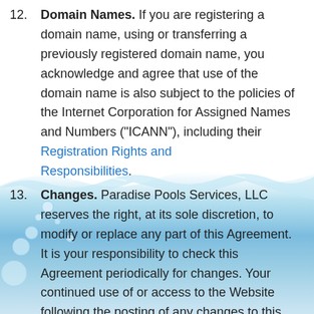12. Domain Names. If you are registering a domain name, using or transferring a previously registered domain name, you acknowledge and agree that use of the domain name is also subject to the policies of the Internet Corporation for Assigned Names and Numbers ("ICANN"), including their Registration Rights and Responsibilities.
[Figure (illustration): Water splash background image with blue water waves and bubbles/droplets]
13. Changes. Paradise Pools Services, LLC reserves the right, at its sole discretion, to modify or replace any part of this Agreement. It is your responsibility to check this Agreement periodically for changes. Your continued use of or access to the Website following the posting of any changes to this Agreement constitutes acceptance of those changes. Paradise Pools Services, LLC may also, in the future, offer new services and/or features through the Website...